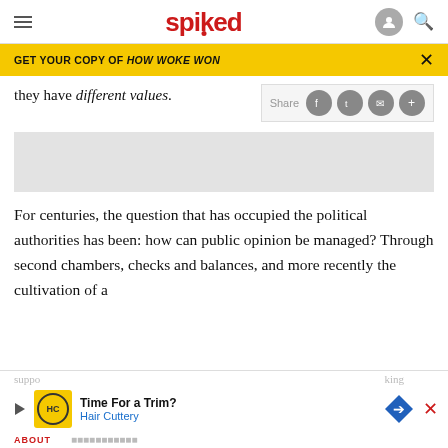spiked
GET YOUR COPY OF HOW WOKE WON
they have different values.
[Figure (screenshot): Share buttons bar with Facebook, Twitter, email, and plus icons]
[Figure (other): Advertisement placeholder (grey rectangle)]
For centuries, the question that has occupied the political authorities has been: how can public opinion be managed? Through second chambers, checks and balances, and more recently the cultivation of a
[Figure (other): Bottom advertisement: Time For a Trim? Hair Cuttery]
ABOUT